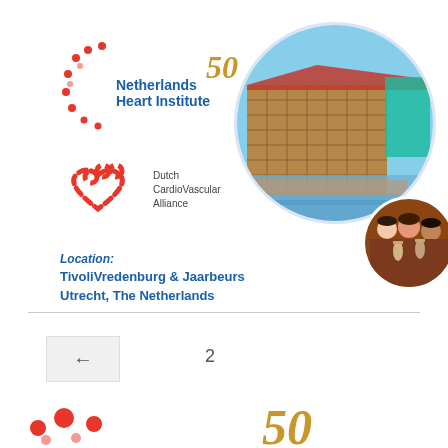[Figure (logo): Netherlands Heart Institute logo with 50th anniversary mark and red dot pattern]
[Figure (logo): Dutch CardioVascular Alliance logo with red heart icon]
[Figure (photo): Circular photo of TivoliVredenburg building in Utrecht]
[Figure (photo): Small circular photo of people socializing]
Location: TivoliVredenburg & Jaarbeurs Utrecht, The Netherlands
2
[Figure (logo): Partial red dots pattern (bottom decorative element)]
[Figure (logo): Partial 50th anniversary gold mark (bottom decorative element)]